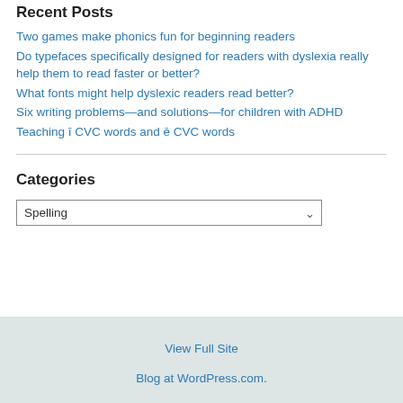Recent Posts
Two games make phonics fun for beginning readers
Do typefaces specifically designed for readers with dyslexia really help them to read faster or better?
What fonts might help dyslexic readers read better?
Six writing problems—and solutions—for children with ADHD
Teaching ī CVC words and ē CVC words
Categories
Spelling
View Full Site
Blog at WordPress.com.